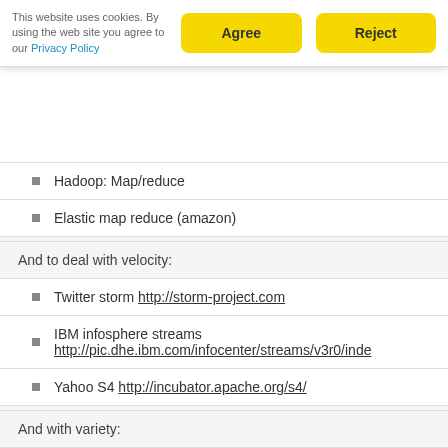This website uses cookies. By using the web site you agree to our Privacy Policy
Hadoop: Map/reduce
Elastic map reduce (amazon)
And to deal with velocity:
Twitter storm http://storm-project.com
IBM infosphere streams http://pic.dhe.ibm.com/infocenter/streams/v3r0/inde
Yahoo S4 http://incubator.apache.org/s4/
And with variety:
natural language processing
Graph stores
XML stores